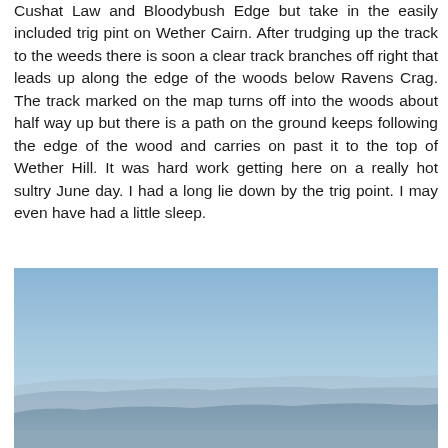Cushat Law and Bloodybush Edge but take in the easily included trig pint on Wether Cairn. After trudging up the track to the weeds there is soon a clear track branches off right that leads up along the edge of the woods below Ravens Crag. The track marked on the map turns off into the woods about half way up but there is a path on the ground keeps following the edge of the wood and carries on past it to the top of Wether Hill. It was hard work getting here on a really hot sultry June day. I had a long lie down by the trig point. I may even have had a little sleep.
[Figure (photo): Landscape photograph showing rolling blue-grey hills under a pale blue sky, with a hazy atmospheric effect creating layers of distant ridgelines.]